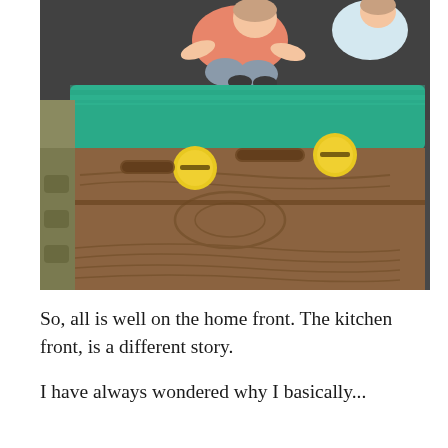[Figure (photo): An overhead/tilted photo of a child (wearing a pink/coral top and gray bottoms) sitting on a dark ground surface behind a plastic children's playhouse or toy structure. The toy has a brown wood-grain textured plastic body with teal/green top section and two yellow round knobs/buttons on the front panel.]
So, all is well on the home front. The kitchen front, is a different story.
I have always wondered why I basically...